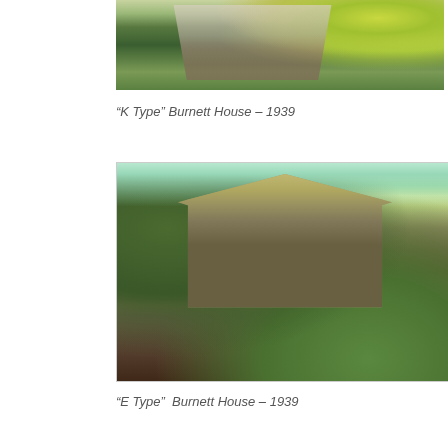[Figure (photo): Top portion of a historic house with garden steps and tropical foliage, cropped view]
“K Type” Burnett House – 1939
[Figure (photo): E Type Burnett House 1939 - a raised Queensland-style heritage house on stilts with a pitched roof, surrounded by tropical vegetation, with colourful flags in the foreground]
“E Type”  Burnett House – 1939